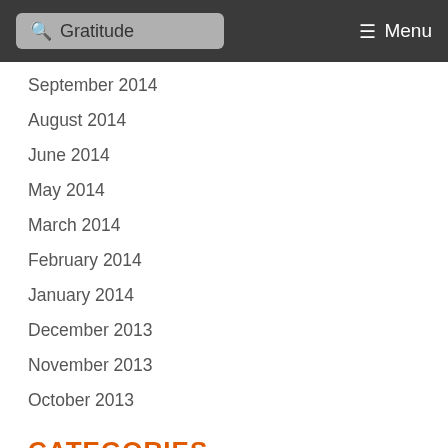Gratitude  Menu
September 2014
August 2014
June 2014
May 2014
March 2014
February 2014
January 2014
December 2013
November 2013
October 2013
CATEGORIES
UNCATEGORIZED
META